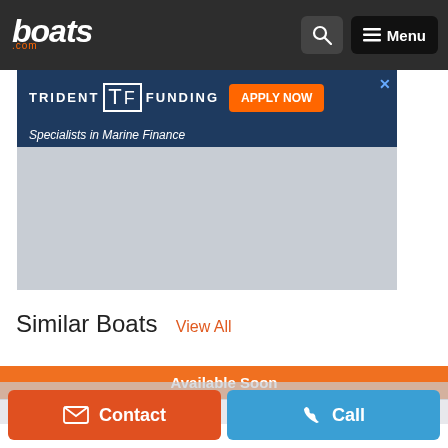boats.com
[Figure (illustration): Trident Funding advertisement banner — blue background with logo, APPLY NOW button, boat photo, tagline 'Specialists in Marine Finance', and gray image placeholder below]
Similar Boats  View All
Available Soon
Contact
Call